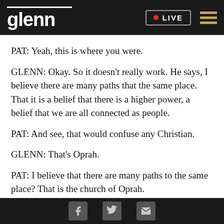glenn • LIVE
PAT: Yeah, this is where you were.
GLENN: Okay. So it doesn't really work. He says, I believe there are many paths that the same place. That it is a belief that there is a higher power, a belief that we are all connected as people.
PAT: And see, that would confuse any Christian.
GLENN: That's Oprah.
PAT: I believe that there are many paths to the same place? That is the church of Oprah.
Social share icons: Facebook, Twitter, Email